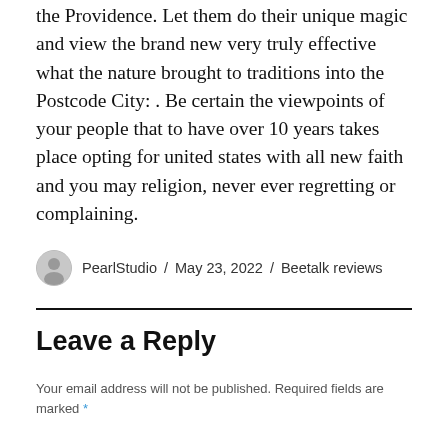the Providence. Let them do their unique magic and view the brand new very truly effective what the nature brought to traditions into the Postcode City: . Be certain the viewpoints of your people that to have over 10 years takes place opting for united states with all new faith and you may religion, never ever regretting or complaining.
PearlStudio / May 23, 2022 / Beetalk reviews
Leave a Reply
Your email address will not be published. Required fields are marked *